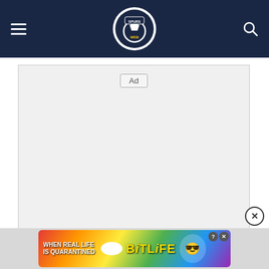The Spurs Web
[Figure (other): Ad placeholder box with 'Ad' label centered]
While the likes of Leeds, Villa and Brighton were easier on the eye to watch than Spurs last season, the expectations at Tottenham are much higher.
[Figure (other): BitLife advertisement banner with rainbow background and game mascot. Text: WHEN REAL LIFE IS QUARANTINED BitLife]